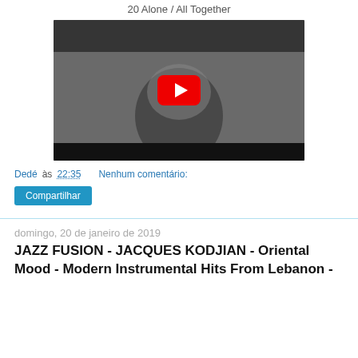20 Alone / All Together
[Figure (screenshot): YouTube video thumbnail showing a black and white image of a person with long hair and beard, with a colorful geometric logo and 'Carolina' text in the top bar, and a red YouTube play button in the center.]
Dedé às 22:35    Nenhum comentário:
Compartilhar
domingo, 20 de janeiro de 2019
JAZZ FUSION - JACQUES KODJIAN - Oriental Mood - Modern Instrumental Hits From Lebanon -